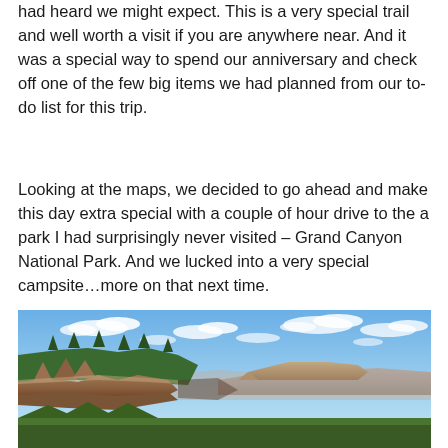had heard we might expect. This is a very special trail and well worth a visit if you are anywhere near. And it was a special way to spend our anniversary and check off one of the few big items we had planned from our to-do list for this trip.
Looking at the maps, we decided to go ahead and make this day extra special with a couple of hour drive to the a park I had surprisingly never visited – Grand Canyon National Park. And we lucked into a very special campsite…more on that next time.
[Figure (photo): Landscape photo of Grand Canyon National Park showing rocky canyon walls, green forested ridge on the left, a mesa formation in the middle distance, and blue sky with scattered white clouds above.]